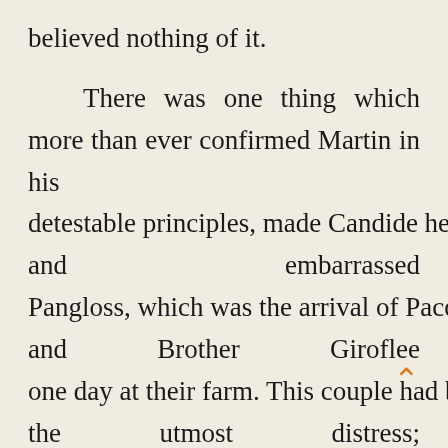believed nothing of it.

    There was one thing which more than ever confirmed Martin in his detestable principles, made Candide hesitate, and embarrassed Pangloss, which was the arrival of Pacquette and Brother Giroflee one day at their farm. This couple had been in the utmost distress; they had very speedily made away with their three thousand piastres; they had parted, been reconciled; quarreled